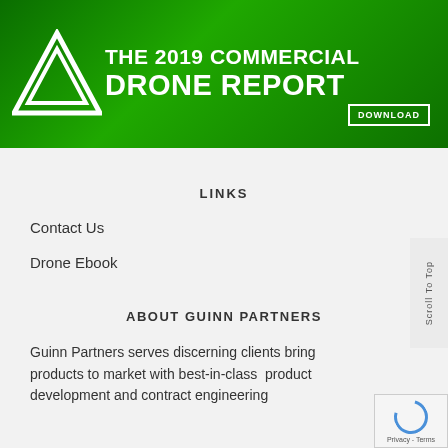[Figure (illustration): Green banner advertisement for 'The 2019 Commercial Drone Report' featuring a white triangle/drone logo on the left, bold white text in the center, and a 'DOWNLOAD' button on the right. Background shows green-tinted drone imagery.]
LINKS
Contact Us
Drone Ebook
ABOUT GUINN PARTNERS
Guinn Partners serves discerning clients bring products to market with best-in-class product development and contract engineering